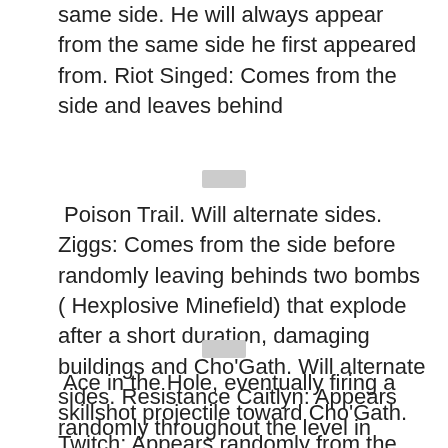same side. He will always appear from the same side he first appeared from. Riot Singed: Comes from the side and leaves behind
[Figure (other): Small grey placeholder image/icon]
Poison Trail. Will alternate sides. Ziggs: Comes from the side before randomly leaving behinds two bombs ( Hexplosive Minefield) that explode after a short duration, damaging buildings and Cho'Gath. Will alternate sides. Resistance Caitlyn: Appears randomly throughout the level in windows. After a couple of seconds, she will begin to aim her
[Figure (other): Small grey placeholder image/icon]
Ace in the Hole, eventually firing a skillshot projectile toward Cho'Gath. Twitch: Appears randomly from the ground, peeking up from underneath a manhole cover. When Twitch dies the manhole starts to bounce